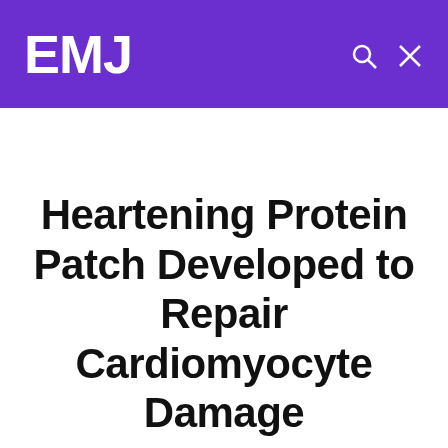EMJ
Home > Cardiology
Heartening Protein Patch Developed to Repair Cardiomyocyte Damage